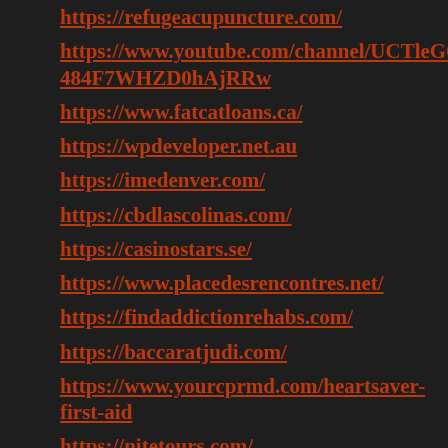https://refugeacupuncture.com/
https://www.youtube.com/channel/UCTleG6-484F7WHZD0hAjRRw
https://www.fatcatloans.ca/
https://wpdeveloper.net.au
https://imedenver.com/
https://cbdlascolinas.com/
https://casinostars.se/
https://www.placedesrencontres.net/
https://findaddictionrehabs.com/
https://baccaratjudi.com/
https://www.yourcprmd.com/heartsaver-first-aid
https://nitetours.com/
https://dermainstitute.co.uk/
https://wikipedia.or.id/